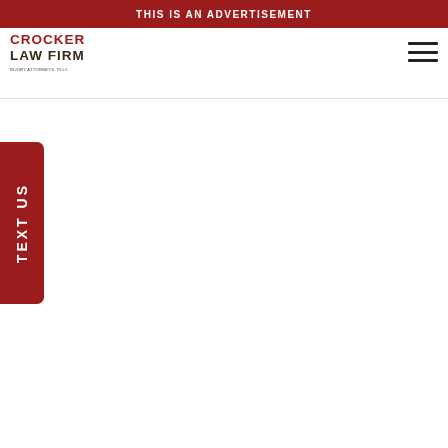THIS IS AN ADVERTISEMENT
[Figure (logo): Crocker Law Firm logo with red and dark brown text]
[Figure (other): Hamburger/navigation menu icon with three horizontal lines]
TEXT US